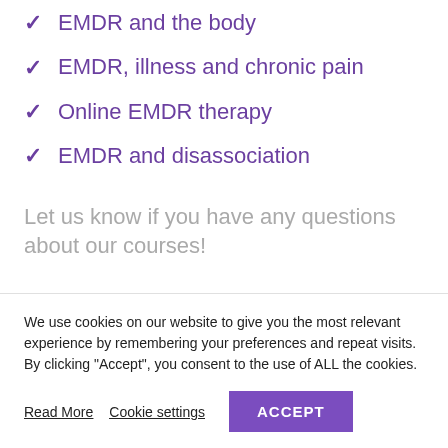EMDR and the body
EMDR, illness and chronic pain
Online EMDR therapy
EMDR and disassociation
Let us know if you have any questions about our courses!
We use cookies on our website to give you the most relevant experience by remembering your preferences and repeat visits. By clicking “Accept”, you consent to the use of ALL the cookies.
Read More  Cookie settings  ACCEPT